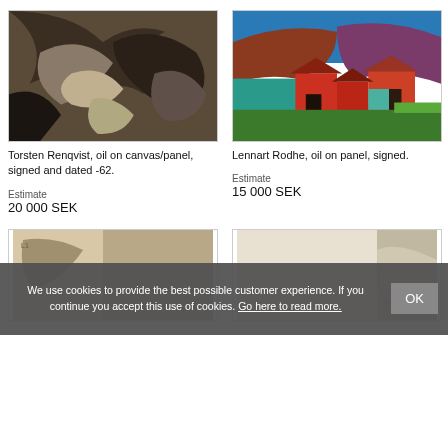[Figure (photo): Torsten Renqvist oil painting, dark abstract forms on canvas, browns and blacks]
Torsten Renqvist, oil on canvas/panel, signed and dated -62.
Estimate
20 000 SEK
[Figure (photo): Lennart Rodhe oil painting on panel, colorful modernist landscape with red buildings and blue-purple hills]
Lennart Rodhe, oil on panel, signed.
Estimate
15 000 SEK
[Figure (photo): Partially visible painting, bottom left, aged tan/brown tones]
[Figure (photo): Partially visible painting, bottom right, light/white tones]
We use cookies to provide the best possible customer experience. If you continue you accept this use of cookies. Go here to read more.